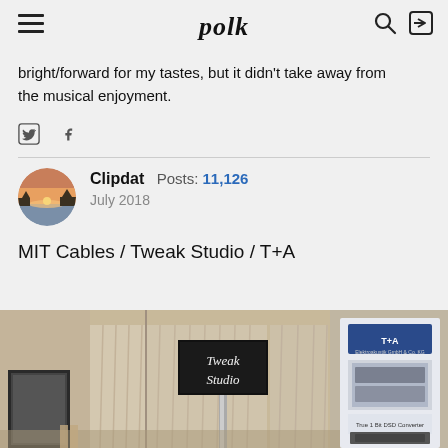polk
bright/forward for my tastes, but it didn't take away from the musical enjoyment.
Clipdat  Posts: 11,126  July 2018
MIT Cables / Tweak Studio / T+A
[Figure (photo): Interior photo of a hotel room or showroom with beige curtains, a black Tweak Studio banner/sign hanging in front of the curtains, and a T+A audio equipment banner on the right side showing 'True 1 Bit DSD Converter'. A framed picture is visible on the left wall.]